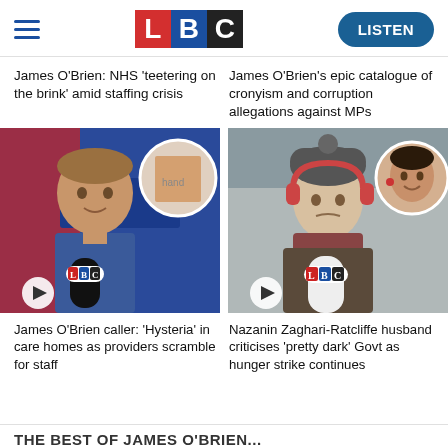LBC — LISTEN
James O'Brien: NHS 'teetering on the brink' amid staffing crisis
James O'Brien's epic catalogue of cronyism and corruption allegations against MPs
[Figure (photo): James O'Brien at LBC microphone with inset image of hands]
[Figure (photo): Nazanin Zaghari-Ratcliffe's husband at protest with LBC microphone, inset of Nazanin smiling]
James O'Brien caller: 'Hysteria' in care homes as providers scramble for staff
Nazanin Zaghari-Ratcliffe husband criticises 'pretty dark' Govt as hunger strike continues
THE BEST OF JAMES O'BRIEN...